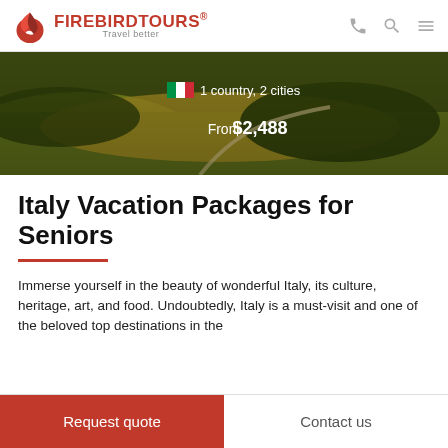FIREBIRDTOURS® Travel better
[Figure (photo): Aerial view of Italian countryside with rolling green and gold fields, a winding road through trees, overlaid with Italian flag icon, text '1 country, 2 cities' and 'From $2,488']
Italy Vacation Packages for Seniors
Immerse yourself in the beauty of wonderful Italy, its culture, heritage, art, and food. Undoubtedly, Italy is a must-visit and one of the beloved top destinations in the
Request quote
Contact us